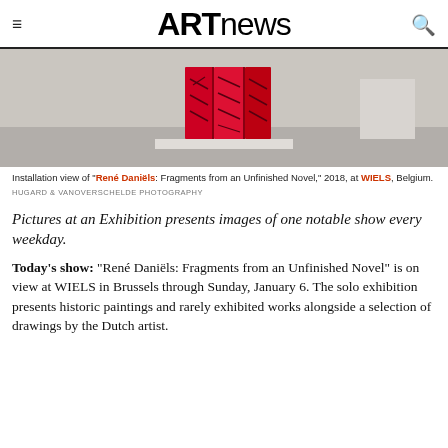ARTnews
[Figure (photo): Installation view of a red folded sculptural artwork displayed on a white pedestal in a gallery with grey floors and white walls]
Installation view of “René Daniëls: Fragments from an Unfinished Novel,” 2018, at WIELS, Belgium.
HUGARD & VANOVERSCHELDE PHOTOGRAPHY
Pictures at an Exhibition presents images of one notable show every weekday.
Today’s show: “René Daniëls: Fragments from an Unfinished Novel” is on view at WIELS in Brussels through Sunday, January 6. The solo exhibition presents historic paintings and rarely exhibited works alongside a selection of drawings by the Dutch artist.